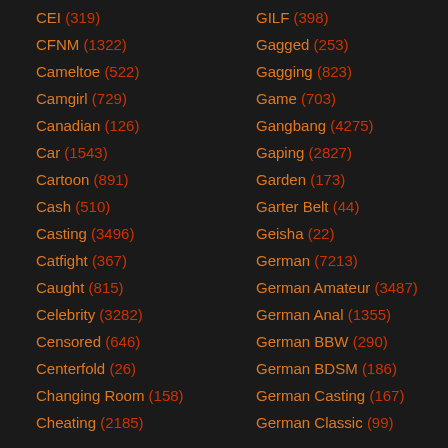CEI (319)
CFNM (1322)
Cameltoe (522)
Camgirl (729)
Canadian (126)
Car (1543)
Cartoon (891)
Cash (510)
Casting (3496)
Catfight (367)
Caught (815)
Celebrity (3282)
Censored (646)
Centerfold (26)
Changing Room (158)
Cheating (2185)
GILF (398)
Gagged (253)
Gagging (823)
Game (703)
Gangbang (4275)
Gaping (2827)
Garden (173)
Garter Belt (44)
Geisha (22)
German (7213)
German Amateur (3487)
German Anal (1355)
German BBW (290)
German BDSM (186)
German Casting (167)
German Classic (99)